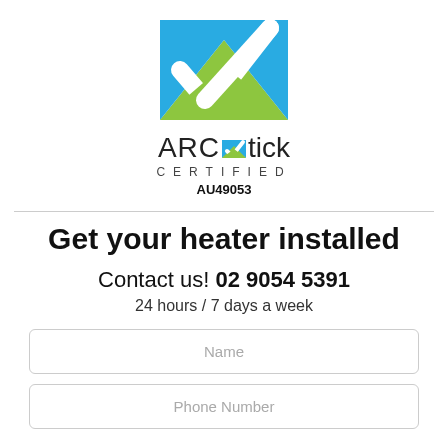[Figure (logo): ARCtick Certified logo with blue and green checkmark graphic above the text 'ARCtick CERTIFIED AU49053']
Get your heater installed
Contact us! 02 9054 5391
24 hours / 7 days a week